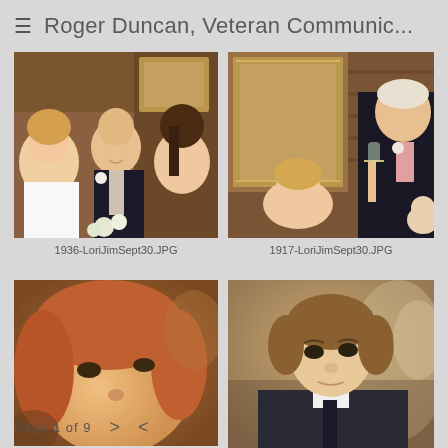≡ Roger Duncan, Veteran Communic...
[Figure (photo): Wedding photo showing a bride, older man in dark suit with boutonniere, and a young brunette woman smiling, indoor setting with wood paneling and framed painting in background]
1936-LoriJimSept30.JPG
[Figure (photo): Indoor wedding reception photo showing an older man in dark suit holding a champagne glass, a young blonde woman looking up at him, wood paneling and framed mirror in background]
1917-LoriJimSept30.JPG
[Figure (photo): Close-up blurry photo of a person with reddish-blonde hair, face partially visible, blurred background]
[Figure (photo): Young man with short brown hair wearing a dark suit, looking slightly to the side, blurred interior background]
Page 1 of 9  >  <